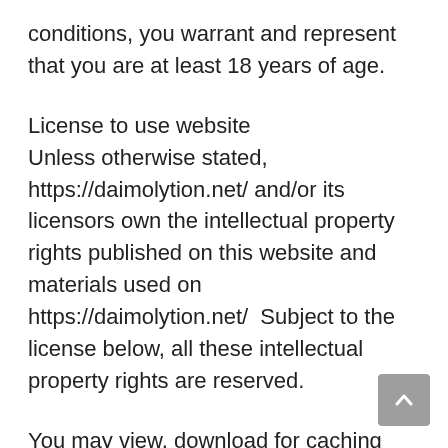conditions, you warrant and represent that you are at least 18 years of age.
License to use website
Unless otherwise stated, https://daimolytion.net/ and/or its licensors own the intellectual property rights published on this website and materials used on https://daimolytion.net/  Subject to the license below, all these intellectual property rights are reserved.
You may view, download for caching purposes only, and print pages, files or other